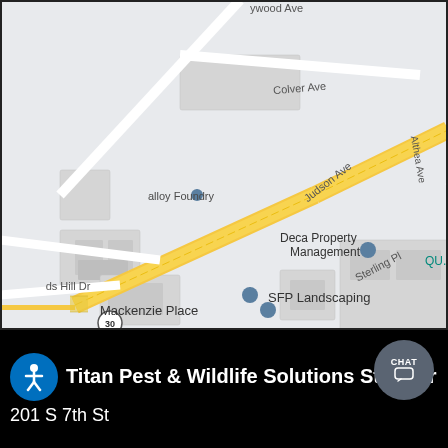[Figure (map): Google Maps screenshot showing street map with labeled roads: Colver Ave, Judson Ave, Sterling Pl, Althea Ave, ds Hill Dr. Businesses shown: 9 Mile Garde, Popeyes Louisiana Kitchen, Deca Property Management, QU.art.ine, SFP Landscaping, Cleaning (partial), Mackenzie Place, alloy Foundry. Route 30 highway runs diagonally in yellow/orange.]
Titan Pest & Wildlife Solutions St. Char
201 S 7th St